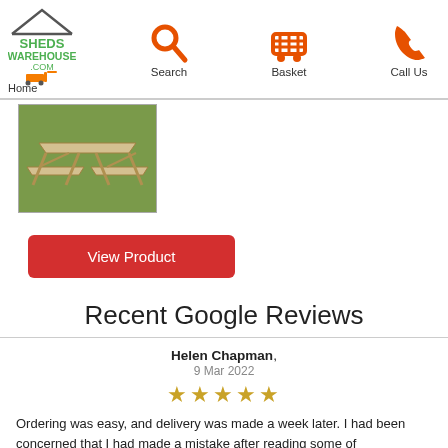[Figure (logo): Sheds Warehouse .com logo with green text and roof graphic]
[Figure (illustration): Orange search/magnify icon with label Search]
[Figure (illustration): Orange shopping basket/cart icon with label Basket]
[Figure (illustration): Orange phone icon with label Call Us]
[Figure (photo): Photograph of a wooden picnic table on grass]
View Product
Recent Google Reviews
Helen Chapman, 9 Mar 2022 ★★★★★ Ordering was easy, and delivery was made a week later. I had been concerned that I had made a mistake after reading some of